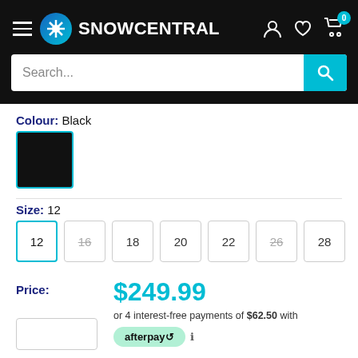SNOWCENTRAL — navigation header with search bar
Colour: Black
[Figure (other): Black colour swatch square with teal border]
Size: 12
Size options: 12 (selected), 16 (strikethrough), 18, 20, 22, 26 (strikethrough), 28
Price: $249.99
or 4 interest-free payments of $62.50 with afterpay